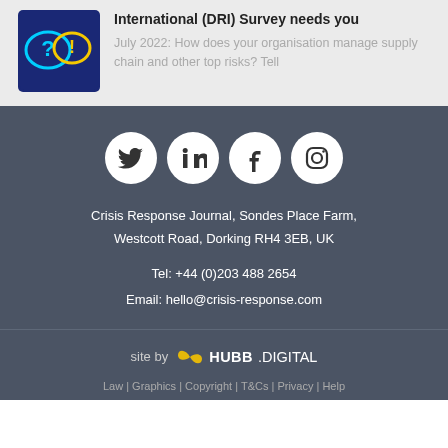[Figure (illustration): Chat bubble icons with question mark and exclamation mark on dark blue background]
International (DRI) Survey needs you
July 2022: How does your organisation manage supply chain and other top risks? Tell
[Figure (other): Social media icons: Twitter, LinkedIn, Facebook, Instagram — white circles on dark background]
Crisis Response Journal, Sondes Place Farm, Westcott Road, Dorking RH4 3EB, UK
Tel:  +44 (0)203 488 2654
Email:  hello@crisis-response.com
[Figure (logo): HUBB.DIGITAL logo with yellow infinity/ribbon icon]
site by  HUBB.DIGITAL
Law | Graphics | Copyright | T&Cs | Privacy | Help